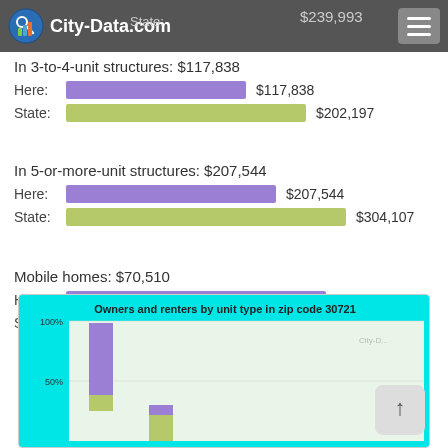City-Data.com
State: $239,993
In 3-to-4-unit structures: $117,838
Here: $117,838
State: $202,197
In 5-or-more-unit structures: $207,544
Here: $207,544
State: $304,107
Mobile homes: $70,510
Here: $70,510
State: $74,102
[Figure (bar-chart): Stacked bar chart showing owners and renters by unit type in zip code 30721 with y-axis showing 0%, 50%, 100%]